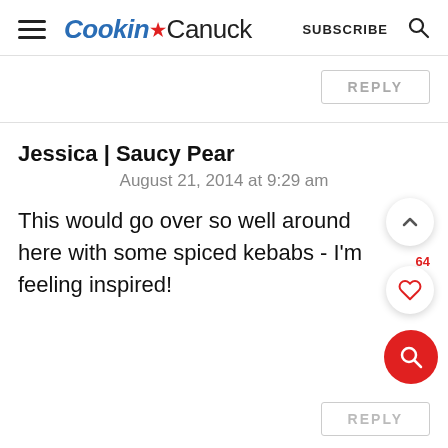Cookin Canuck  SUBSCRIBE
REPLY
Jessica | Saucy Pear
August 21, 2014 at 9:29 am
This would go over so well around here with some spiced kebabs - I'm feeling inspired!
REPLY